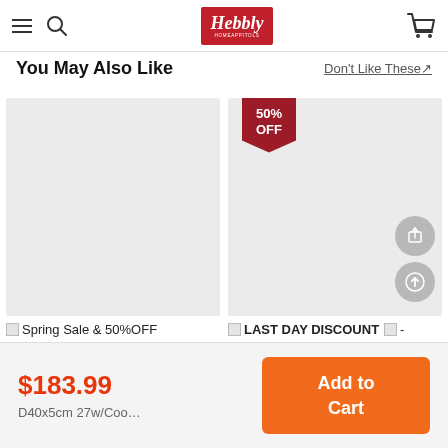Hebbly — navigation header with hamburger menu, search, logo, and cart icon
You May Also Like
Don't Like These↗
[Figure (photo): Product image placeholder — grey rectangle, no product shown]
[Figure (photo): Product image placeholder — grey rectangle with 50% OFF badge and share/upload action buttons on the right]
Spring Sale & 50%OFF
LAST DAY DISCOUNT -
$183.99
D40x5cm 27w/Coo…
Add to Cart